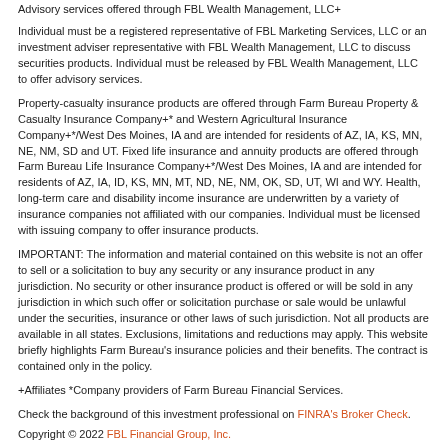Advisory services offered through FBL Wealth Management, LLC+
Individual must be a registered representative of FBL Marketing Services, LLC or an investment adviser representative with FBL Wealth Management, LLC to discuss securities products. Individual must be released by FBL Wealth Management, LLC to offer advisory services.
Property-casualty insurance products are offered through Farm Bureau Property & Casualty Insurance Company+* and Western Agricultural Insurance Company+*/West Des Moines, IA and are intended for residents of AZ, IA, KS, MN, NE, NM, SD and UT. Fixed life insurance and annuity products are offered through Farm Bureau Life Insurance Company+*/West Des Moines, IA and are intended for residents of AZ, IA, ID, KS, MN, MT, ND, NE, NM, OK, SD, UT, WI and WY. Health, long-term care and disability income insurance are underwritten by a variety of insurance companies not affiliated with our companies. Individual must be licensed with issuing company to offer insurance products.
IMPORTANT: The information and material contained on this website is not an offer to sell or a solicitation to buy any security or any insurance product in any jurisdiction. No security or other insurance product is offered or will be sold in any jurisdiction in which such offer or solicitation purchase or sale would be unlawful under the securities, insurance or other laws of such jurisdiction. Not all products are available in all states. Exclusions, limitations and reductions may apply. This website briefly highlights Farm Bureau's insurance policies and their benefits. The contract is contained only in the policy.
+Affiliates *Company providers of Farm Bureau Financial Services.
Check the background of this investment professional on FINRA's Broker Check.
Copyright © 2022 FBL Financial Group, Inc.